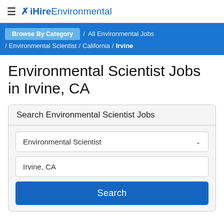≡ ✕ iHireEnvironmental
Browse By Category / All Environmental Jobs / Environmental Scientist / California / Irvine
Environmental Scientist Jobs in Irvine, CA
Search Environmental Scientist Jobs
Environmental Scientist
Irvine, CA
Search